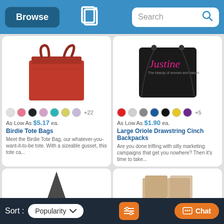Browse | Search
[Figure (photo): Red Birdie Tote Bag product photo]
As Low As $5.17 ea.
Birdie Tote Bags
Meet the Birdie Tote Bag, our whatever-you-want-it-to-be tote. With a sizeable gusset, this tote ca...
[Figure (photo): Black Large Oriole Drawstring Cinch Backpack with Justine branding]
As Low As $1.90 ea.
Large Oriole Drawstring Cinch Backpacks
Are you done trifling with silly marketing campaigns that get you nowhere? Then it's time to take...
Sort: Popularity | Chat